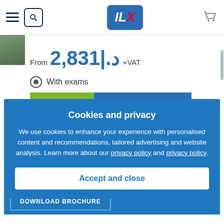ILX website header with hamburger menu, search, logo, and cart
From 2,831|.د +VAT
With exams
BUY NOW
REQUEST A QUOTE
Cookies and privacy
We use cookies to enhance your experience with personalised content and recommendations, tailored advertising and website analysis. Learn more about our privacy policy and privacy policy.
Accept and close
DOWNLOAD BROCHURE